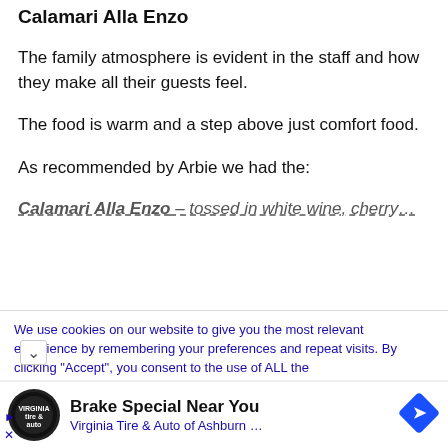Calamari Alla Enzo
The family atmosphere is evident in the staff and how they make all their guests feel.
The food is warm and a step above just comfort food.
As recommended by Arbie we had the:
Calamari Alla Enzo – tossed in white wine, cherry…
We use cookies on our website to give you the most relevant experience by remembering your preferences and repeat visits. By clicking "Accept", you consent to the use of ALL the
Brake Special Near You
Virginia Tire & Auto of Ashburn ...